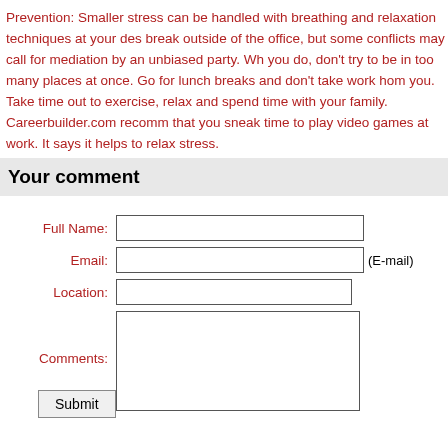Prevention: Smaller stress can be handled with breathing and relaxation techniques at your des break outside of the office, but some conflicts may call for mediation by an unbiased party. Wh you do, don't try to be in too many places at once. Go for lunch breaks and don't take work hom you. Take time out to exercise, relax and spend time with your family. Careerbuilder.com recomm that you sneak time to play video games at work. It says it helps to relax stress.
Your comment
Full Name: [input] Email: [input] (E-mail) Location: [input] Comments: [textarea] Submit